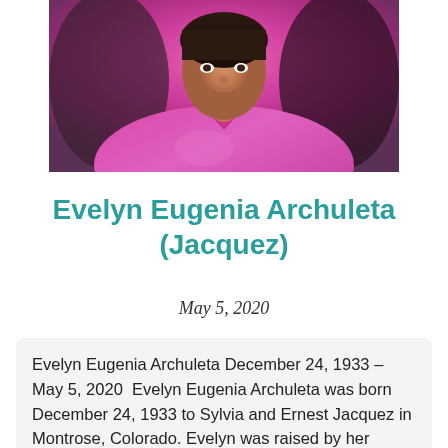[Figure (photo): Portrait photo of a woman wearing a pink/magenta blouse, photographed from shoulders up against a warm background.]
Evelyn Eugenia Archuleta (Jacquez)
May 5, 2020
Evelyn Eugenia Archuleta December 24, 1933 – May 5, 2020  Evelyn Eugenia Archuleta was born December 24, 1933 to Sylvia and Ernest Jacquez in Montrose, Colorado. Evelyn was raised by her grandparents Ben and Sabina Garcia.  Evelyn att...